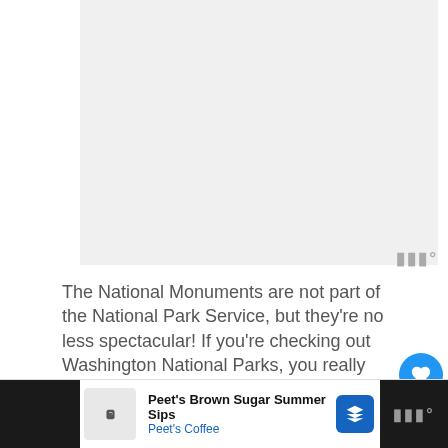[Figure (other): Gray placeholder image area at top of page]
The National Monuments are not part of the National Park Service, but they're no less spectacular! If you're checking out Washington National Parks, you really need to add Loowit (Mt St Helens) to the list.
We use cookies on our website to give you the most relevant experience by remembering your preferences and repeat visits. By clicking “Accept”, you consent to the use of ALL the cookies.
Do not sell my personal information.
[Figure (screenshot): Peet's Coffee advertisement banner at bottom: Peet's Brown Sugar Summer Sips, Peet's Coffee]